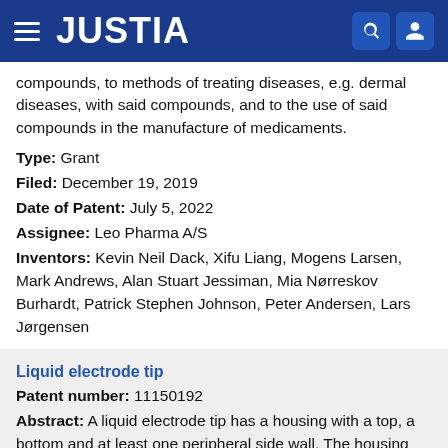JUSTIA
compounds, to methods of treating diseases, e.g. dermal diseases, with said compounds, and to the use of said compounds in the manufacture of medicaments.
Type: Grant
Filed: December 19, 2019
Date of Patent: July 5, 2022
Assignee: Leo Pharma A/S
Inventors: Kevin Neil Dack, Xifu Liang, Mogens Larsen, Mark Andrews, Alan Stuart Jessiman, Mia Nørreskov Burhardt, Patrick Stephen Johnson, Peter Andersen, Lars Jørgensen
Liquid electrode tip
Patent number: 11150192
Abstract: A liquid electrode tip has a housing with a top, a bottom and at least one peripheral side wall. The housing has a liquid inlet and a liquid outlet. The liquid